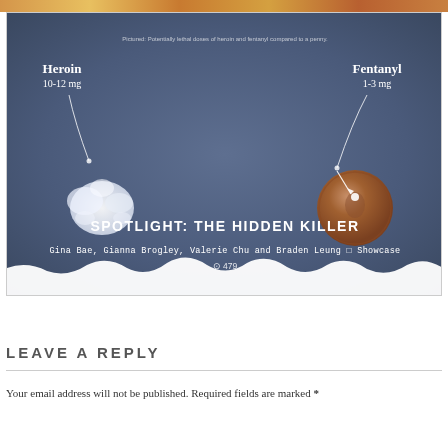[Figure (photo): Partial top strip showing colorful food dish image at top of page]
[Figure (infographic): Dark blue/slate background infographic showing potentially lethal doses of heroin (10-12mg, white powder blob) and fentanyl (1-3mg, tiny speck on penny coin) compared to a penny. Title reads 'SPOTLIGHT: THE HIDDEN KILLER'. Authors: Gina Bae, Gianna Brogley, Valerie Chu and Braden Leung. Category: Showcase. Views: 479.]
Gina Bae, Gianna Brogley, Valerie Chu and Braden Leung  □  Showcase  479
LEAVE A REPLY
Your email address will not be published. Required fields are marked *